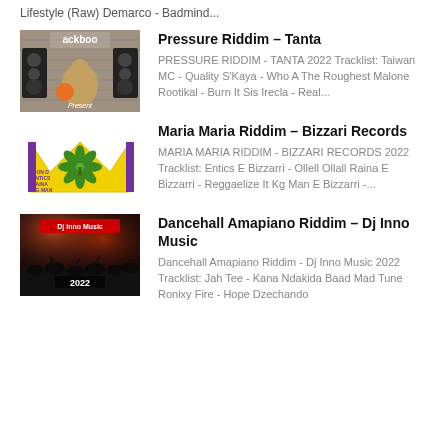Lifestyle (Raw) Demarco - Badmind...
[Figure (illustration): Ackboo reggae album cover with cartoon characters and speakers]
Pressure Riddim – Tanta
PRESSURE RIDDIM - TANTA 2022 Tracklist: Taiwan MC - Quality S'Kaya - Who A The Roughest Malone Rootikal - Burn It Sis Irecla - Real...
[Figure (illustration): Maria Maria Riddim Bizzari Records cover with yellow M logo and cannabis leaf]
Maria Maria Riddim – Bizzari Records
MARIA MARIA RIDDIM - BIZZARI RECORDS 2022 Tracklist: Entics E Bizzarri - Ollell Ollall Raina E Bizzarri - Reggaelize It Kg Man E Bizzarri -...
[Figure (illustration): Dj Inno Music 2022 concert crowd photo with stage lighting]
Dancehall Amapiano Riddim – Dj Inno Music
Dancehall Amapiano Riddim - Dj Inno Music 2022 Tracklist: Jah Tee - Kana Ndakida Baad Mad Tune Ronixy Fire - Hope Dzechando